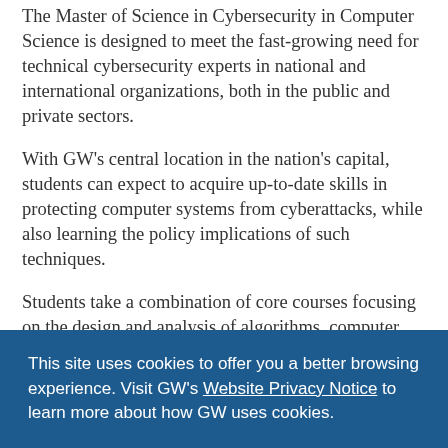The Master of Science in Cybersecurity in Computer Science is designed to meet the fast-growing need for technical cybersecurity experts in national and international organizations, both in the public and private sectors.
With GW's central location in the nation's capital, students can expect to acquire up-to-date skills in protecting computer systems from cyberattacks, while also learning the policy implications of such techniques.
Students take a combination of core courses focusing on the design and analysis of algorithms, computer architectures and advanced software paradigms. These are combined with courses on security (ex. applied cryptography, penetration defense, etc.) and...
This site uses cookies to offer you a better browsing experience. Visit GW's Website Privacy Notice to learn more about how GW uses cookies.